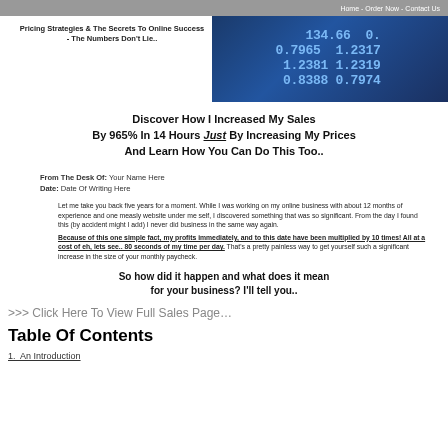Home - Order Now - Contact Us
Pricing Strategies & The Secrets To Online Success - The Numbers Don't Lie..
[Figure (photo): Close-up photo of financial/currency numbers on a dark blue background showing figures like 134.66, 0.7965, 1.2317, 1.2381, 1.2319, 0.8388, 0.7974]
Discover How I Increased My Sales By 965% In 14 Hours Just By Increasing My Prices And Learn How You Can Do This Too..
From The Desk Of: Your Name Here
Date: Date Of Writing Here
Let me take you back five years for a moment. While I was working on my online business with about 12 months of experience and one measly website under me self, I discovered something that was so significant. From the day I found this (by accident might I add) I never did business in the same way again.
Because of this one simple fact, my profits immediately, and to this date have been multiplied by 10 times! All at a cost of eh, lets see.. 80 seconds of my time per day. That's a pretty painless way to get yourself such a significant increase in the size of your monthly paycheck.
So how did it happen and what does it mean for your business? I'll tell you..
>>> Click Here To View Full Sales Page...
Table Of Contents
1.  An Introduction